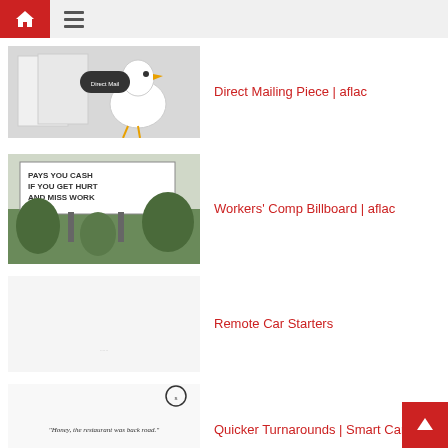Navigation bar with home and menu icons
[Figure (photo): Aflac ducks with direct mail piece]
Direct Mailing Piece | aflac
[Figure (photo): Billboard reading PAYS YOU CASH IF YOU GET HURT AND MISS WORK with aflac logo and trees in background]
Workers' Comp Billboard | aflac
[Figure (photo): Light gray/white nearly blank image for Remote Car Starters]
Remote Car Starters
[Figure (photo): Smart car advertisement with text Honey, the restaurant was back road. and a red Smart Car]
Quicker Turnarounds | Smart Car